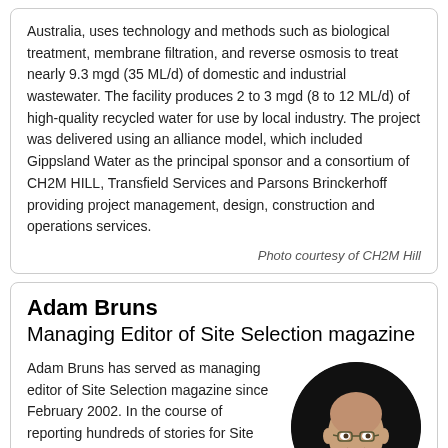Australia, uses technology and methods such as biological treatment, membrane filtration, and reverse osmosis to treat nearly 9.3 mgd (35 ML/d) of domestic and industrial wastewater. The facility produces 2 to 3 mgd (8 to 12 ML/d) of high-quality recycled water for use by local industry. The project was delivered using an alliance model, which included Gippsland Water as the principal sponsor and a consortium of CH2M HILL, Transfield Services and Parsons Brinckerhoff providing project management, design, construction and operations services.
Photo courtesy of CH2M Hill
Adam Bruns
Managing Editor of Site Selection magazine
Adam Bruns has served as managing editor of Site Selection magazine since February 2002. In the course of reporting hundreds of stories for Site Selection, Adam has visited companies and communities around the globe. A St. Louis native who grew up in the Kansas City suburbs, Adam is a 1986 alumnus of Knox College, and resided in Chicago; Midcoast Maine; Savannah,
[Figure (photo): Circular headshot photo of Adam Bruns, a bald man wearing glasses and a blue button-up shirt, against a dark background.]